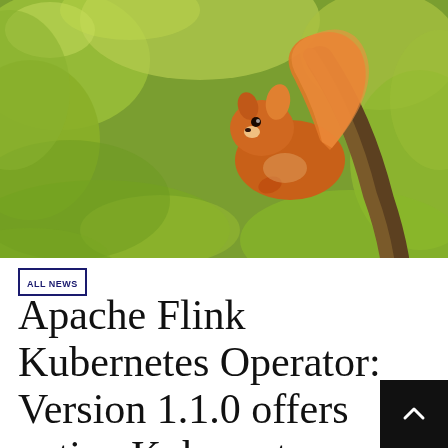[Figure (photo): Red squirrel perched on a tree branch surrounded by green blurred foliage, looking toward the camera]
ALL NEWS
Apache Flink Kubernetes Operator: Version 1.1.0 offers native Kubernetes events